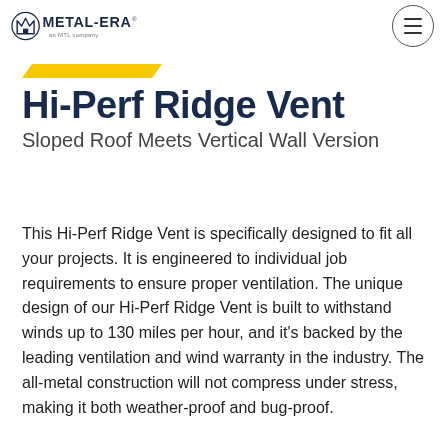[Figure (logo): Metal-Era logo with tagline 'an MTL company']
Hi-Perf Ridge Vent
Sloped Roof Meets Vertical Wall Version
This Hi-Perf Ridge Vent is specifically designed to fit all your projects. It is engineered to individual job requirements to ensure proper ventilation. The unique design of our Hi-Perf Ridge Vent is built to withstand winds up to 130 miles per hour, and it's backed by the leading ventilation and wind warranty in the industry. The all-metal construction will not compress under stress, making it both weather-proof and bug-proof.